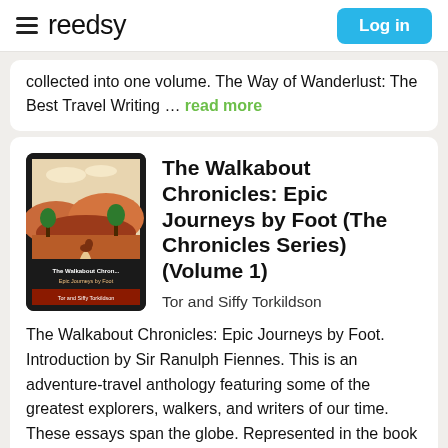reedsy | Log in
collected into one volume. The Way of Wanderlust: The Best Travel Writing … read more
The Walkabout Chronicles: Epic Journeys by Foot (The Chronicles Series) (Volume 1)
Tor and Siffy Torkildson
The Walkabout Chronicles: Epic Journeys by Foot. Introduction by Sir Ranulph Fiennes. This is an adventure-travel anthology featuring some of the greatest explorers, walkers, and writers of our time. These essays span the globe. Represented in the book are world walkers, scientists and archeologists, travelers, artists, explorers, and